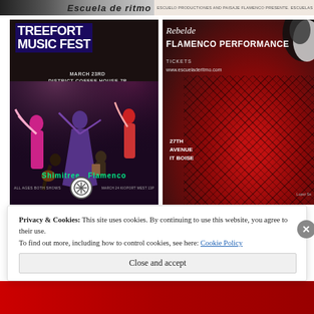[Figure (photo): Top left partial image showing 'Escuela de ritmo' text with dark background]
[Figure (photo): Top right banner with small text about flamenco presentation]
[Figure (photo): Treefort Music Fest poster - flamenco dancers on stage, March 23rd, District Coffee House 7p, Shimitree Flamenco, All Ages Both Shows, March 24 Kioport West 13p]
[Figure (photo): Rebelde Flamenco Performance poster - close-up of red flamenco shoe with mesh stockings, Tickets www.escueladeritmo.com, 27th Avenue Boisé]
Privacy & Cookies: This site uses cookies. By continuing to use this website, you agree to their use.
To find out more, including how to control cookies, see here: Cookie Policy
Close and accept